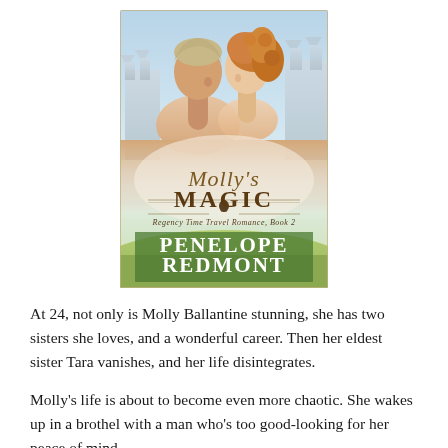[Figure (illustration): Book cover of 'Molly's Magic – Regency Time Travel Romance, Book 2' by Penelope Redmont. Shows a couple about to kiss, with a castle in the background. Title in ornate script and serif text. Author name in large bold serif font at bottom.]
At 24, not only is Molly Ballantine stunning, she has two sisters she loves, and a wonderful career. Then her eldest sister Tara vanishes, and her life disintegrates.
Molly's life is about to become even more chaotic. She wakes up in a brothel with a man who's too good-looking for her peace of mind.